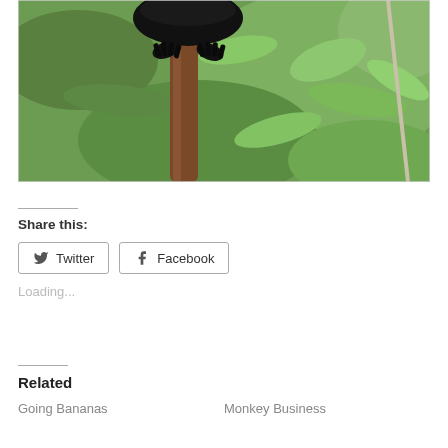[Figure (photo): A black animal (likely a monkey or primate) gripping a brown branch, with green foliage in the background. Close-up nature photography with blurred green background.]
Share this:
Twitter
Facebook
Loading...
Related
Going Bananas
Monkey Business